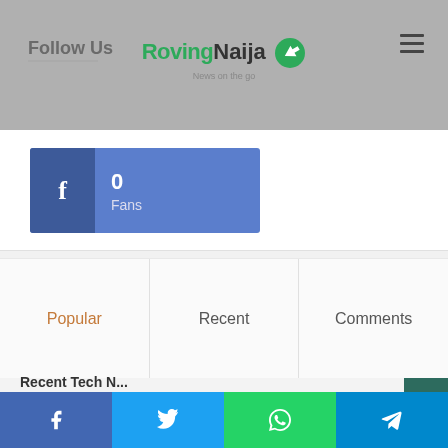Follow Us | RovingNaija News on the go
[Figure (screenshot): Facebook fans widget showing 0 Fans on a blue background with dark Facebook icon box]
Popular
Recent
Comments
Recent Tech N...
Facebook | Twitter | WhatsApp | Telegram social share buttons